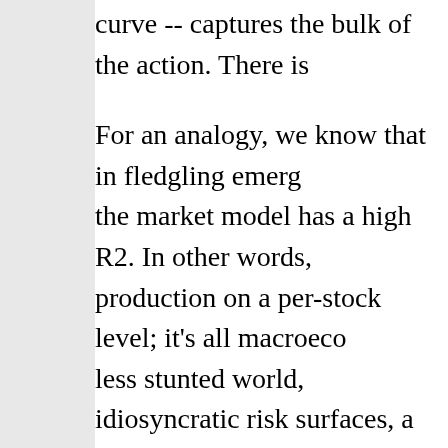curve -- captures the bulk of the action. There is
For an analogy, we know that in fledgling emerging markets, the market model has a high R2. In other words, there is no production on a per-stock level; it's all macroeconomics. In a less stunted world, idiosyncratic risk surfaces, a... In similar fashion, given the stunted Indian bond market, only parallel shifts. It would be possible to trade these on NSE/BSE. This will be a big step forward.
Economic reform in India is about winning politics -- raj. The last time interest rate futures trading was... this by banning bank participation. When currency... banned participation by FIIs and NRIs, while FII... non-transparent and vulnerable OTC market. The... today (!). RBI continues to ban elementary things... futures for non-dollar currencies on exchanges,... RBI on the (non-transparent and vulnerable) OT